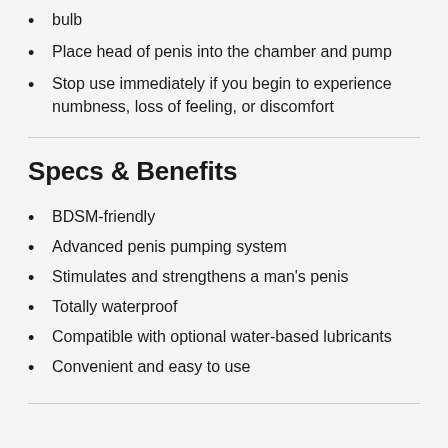bulb
Place head of penis into the chamber and pump
Stop use immediately if you begin to experience numbness, loss of feeling, or discomfort
Specs & Benefits
BDSM-friendly
Advanced penis pumping system
Stimulates and strengthens a man's penis
Totally waterproof
Compatible with optional water-based lubricants
Convenient and easy to use